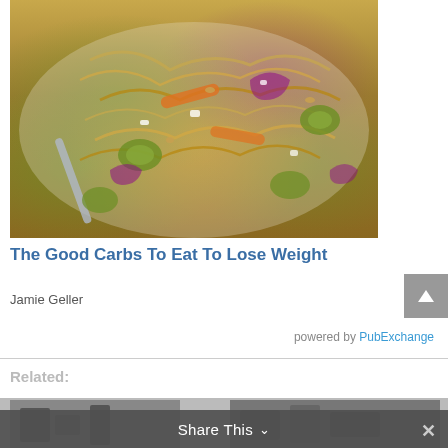[Figure (photo): Food photo showing a plate of noodles/pasta with vegetables including zucchini, carrots, and purple onion, with a fork, on a white plate]
The Good Carbs To Eat To Lose Weight
Jamie Geller
powered by PubExchange
Related:
[Figure (photo): Partial thumbnail image on the left - appears to show interior/room]
[Figure (photo): Partial thumbnail image on the right - appears to show interior/room]
Share This